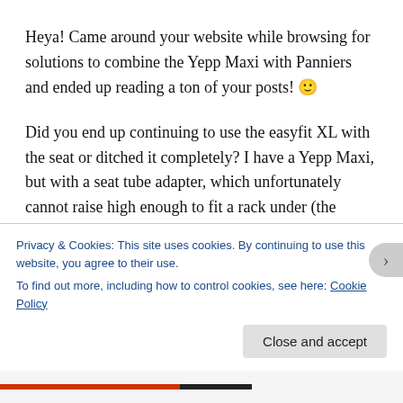Heya! Came around your website while browsing for solutions to combine the Yepp Maxi with Panniers and ended up reading a ton of your posts! 🙂
Did you end up continuing to use the easyfit XL with the seat or ditched it completely? I have a Yepp Maxi, but with a seat tube adapter, which unfortunately cannot raise high enough to fit a rack under (the frame's top tube is oval and too wide for the adapter to run on its sides, so the seat rests just 4cm above the mudguard). So, I'm thinking of swapping it for a rack-mounted version of the Yepp
Privacy & Cookies: This site uses cookies. By continuing to use this website, you agree to their use.
To find out more, including how to control cookies, see here: Cookie Policy